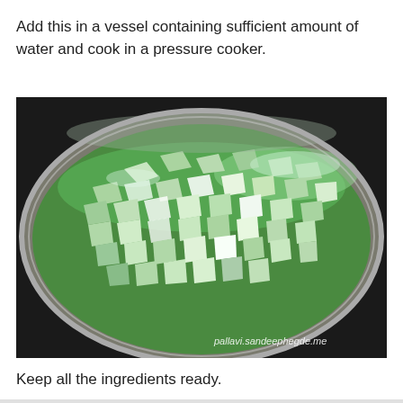Add this in a vessel containing sufficient amount of water and cook in a pressure cooker.
[Figure (photo): Chopped green vegetable (likely bottle gourd/lauki) pieces in water inside a steel pressure cooker vessel, viewed from above. Watermark reads pallavi.sandeephegde.me]
Keep all the ingredients ready.